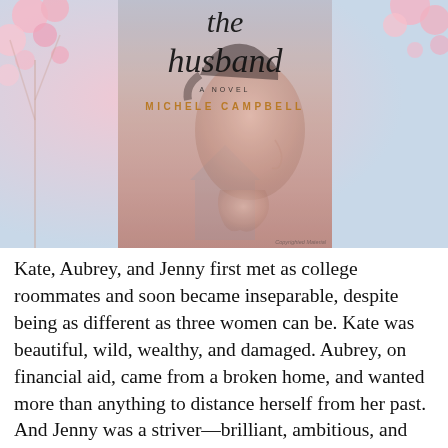[Figure (photo): Book cover for 'The Husband' — A Novel by Michele Campbell. Shows the title in large italic serif font, the author name in gold/amber spaced capitals, and a double-exposure profile of a woman's face over a pink and blue atmospheric background. Set against a cherry blossom background.]
Kate, Aubrey, and Jenny first met as college roommates and soon became inseparable, despite being as different as three women can be. Kate was beautiful, wild, wealthy, and damaged. Aubrey, on financial aid, came from a broken home, and wanted more than anything to distance herself from her past. And Jenny was a striver—brilliant, ambitious, and determined to succeed. As an unlikely friendship